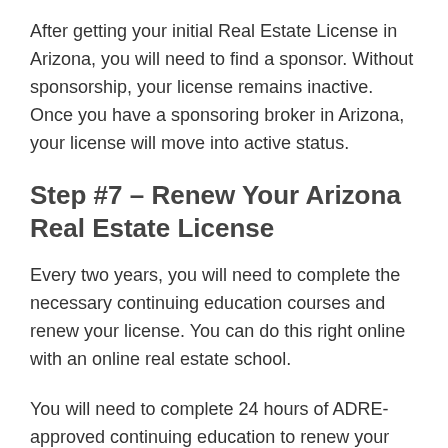After getting your initial Real Estate License in Arizona, you will need to find a sponsor. Without sponsorship, your license remains inactive. Once you have a sponsoring broker in Arizona, your license will move into active status.
Step #7 – Renew Your Arizona Real Estate License
Every two years, you will need to complete the necessary continuing education courses and renew your license. You can do this right online with an online real estate school.
You will need to complete 24 hours of ADRE-approved continuing education to renew your